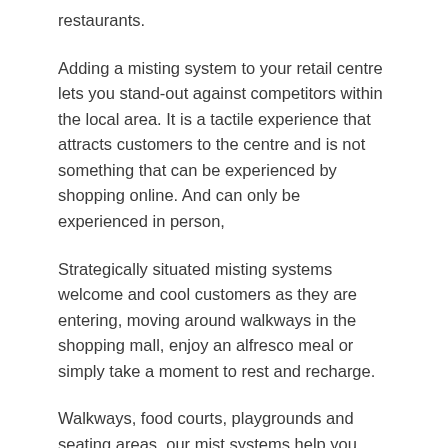restaurants.
Adding a misting system to your retail centre lets you stand-out against competitors within the local area. It is a tactile experience that attracts customers to the centre and is not something that can be experienced by shopping online. And can only be experienced in person,
Strategically situated misting systems welcome and cool customers as they are entering, moving around walkways in the shopping mall, enjoy an alfresco meal or simply take a moment to rest and recharge.
Walkways, food courts, playgrounds and seating areas, our mist systems help you provide relief for your shoppers and their families.
The addition of an outdoor cooling system from CoolMist Systems Australia adds a sense of luxury and communicates